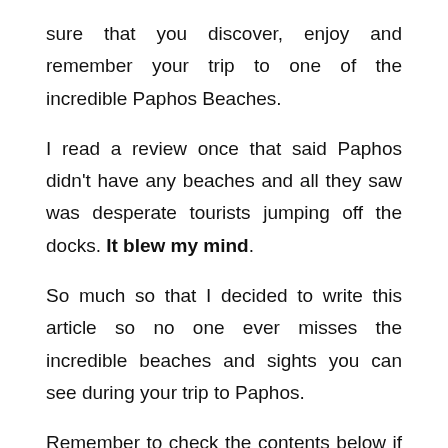sure that you discover, enjoy and remember your trip to one of the incredible Paphos Beaches.
I read a review once that said Paphos didn't have any beaches and all they saw was desperate tourists jumping off the docks. It blew my mind.
So much so that I decided to write this article so no one ever misses the incredible beaches and sights you can see during your trip to Paphos.
Remember to check the contents below if you're looking for something in particular. There are quite a few beaches in Paphos, so you might as well save yourself some time!